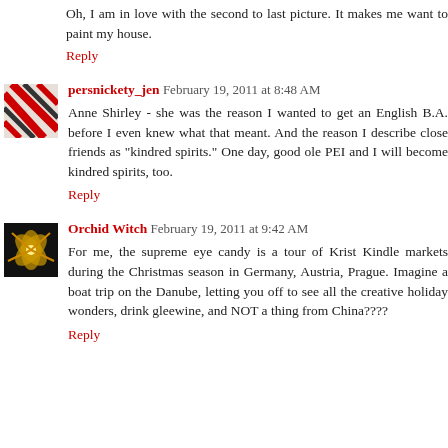Oh, I am in love with the second to last picture. It makes me want to paint my house.
Reply
persnickety_jen  February 19, 2011 at 8:48 AM
Anne Shirley - she was the reason I wanted to get an English B.A. before I even knew what that meant. And the reason I describe close friends as "kindred spirits." One day, good ole PEI and I will become kindred spirits, too.
Reply
Orchid Witch  February 19, 2011 at 9:42 AM
For me, the supreme eye candy is a tour of Krist Kindle markets during the Christmas season in Germany, Austria, Prague. Imagine a boat trip on the Danube, letting you off to see all the creative holiday wonders, drink gleewine, and NOT a thing from China????
Reply